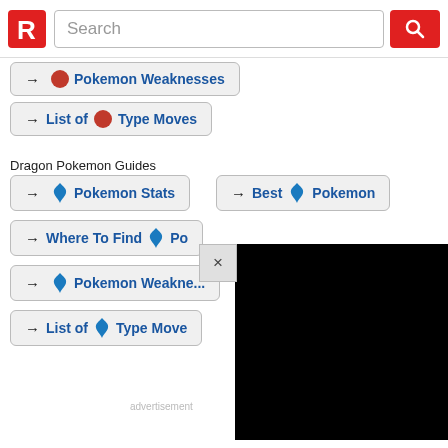Search
→ 🔴 Pokemon Weaknesses
→ 🔴 List of 🔴 Type Moves
Dragon Pokemon Guides
→ 🔵 Pokemon Stats
→ Best 🔵 Pokemon
→ Where To Find 🔵 Po...
→ 🔵 Pokemon Weaknesses
→ List of 🔵 Type Moves
[Figure (other): Black advertisement overlay panel with X close button]
advertisement
▷ ×